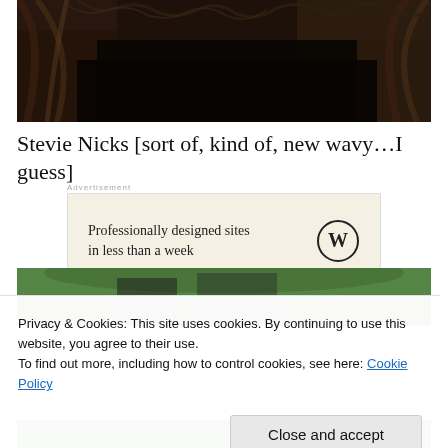[Figure (photo): Close-up photo of a person with dark clothing and long hair, partially visible at top of page]
Stevie Nicks [sort of, kind of, new wavy…I guess]
[Figure (screenshot): WordPress advertisement: 'Professionally designed sites in less than a week' with WordPress logo]
[Figure (photo): Photo partially visible showing green foliage background and person with dark hair]
Privacy & Cookies: This site uses cookies. By continuing to use this website, you agree to their use.
To find out more, including how to control cookies, see here: Cookie Policy
Close and accept